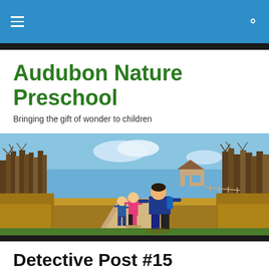Audubon Nature Preschool – navigation bar
Audubon Nature Preschool
Bringing the gift of wonder to children
[Figure (photo): Children running along a nature trail through golden meadow grasses and bare winter trees under a blue sky]
Detective Post #15
Posted by anspreschool
News from the Outdoors: